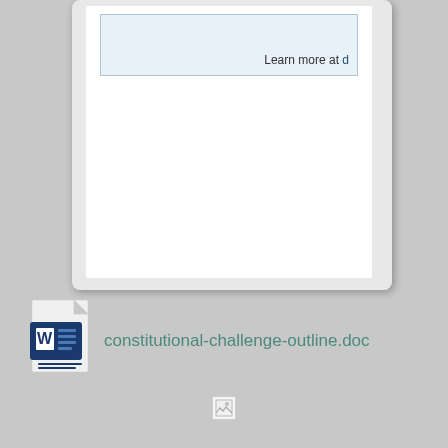Learn more at d
[Figure (screenshot): Partial view of a document page card with a light blue info box containing text ending with 'Learn more at d' (link), shown on a light gray background with white inner page area]
constitutional-challenge-outline.doc
[Figure (illustration): Microsoft Word document file icon (.doc)]
[Figure (photo): Broken/missing image placeholder icon]